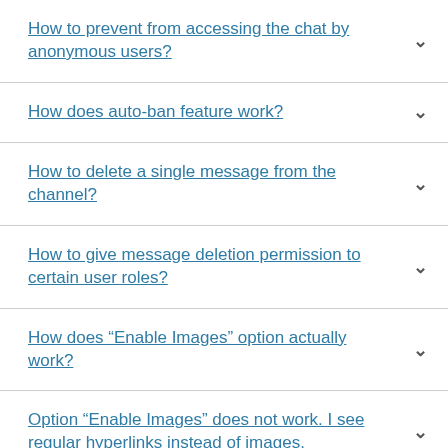How to prevent from accessing the chat by anonymous users?
How does auto-ban feature work?
How to delete a single message from the channel?
How to give message deletion permission to certain user roles?
How does “Enable Images” option actually work?
Option “Enable Images” does not work. I see regular hyperlinks instead of images.